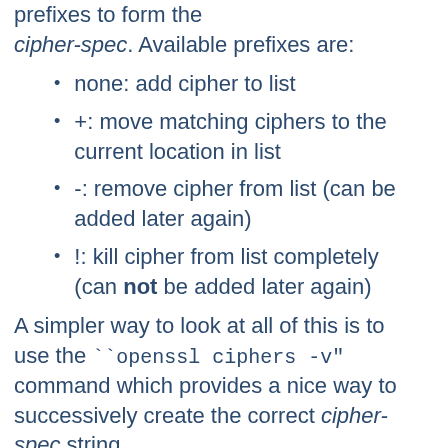prefixes to form the cipher-spec. Available prefixes are:
none: add cipher to list
+: move matching ciphers to the current location in list
-: remove cipher from list (can be added later again)
!: kill cipher from list completely (can not be added later again)
A simpler way to look at all of this is to use the ``openssl ciphers -v" command which provides a nice way to successively create the correct cipher-spec string